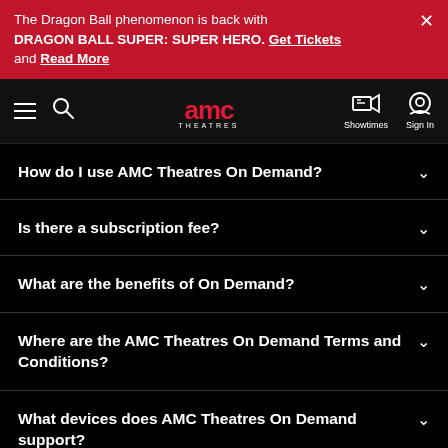The Dragon Ball phenomenon is back with DRAGON BALL SUPER: SUPER HERO. Get Tickets and Read More
[Figure (screenshot): AMC Theatres website navigation bar with hamburger menu, search icon, AMC Theatres logo, Showtimes and Sign In icons]
How do I use AMC Theatres On Demand?
Is there a subscription fee?
What are the benefits of On Demand?
Where are the AMC Theatres On Demand Terms and Conditions?
What devices does AMC Theatres On Demand support?
Is AMC Theatres On Demand connected to